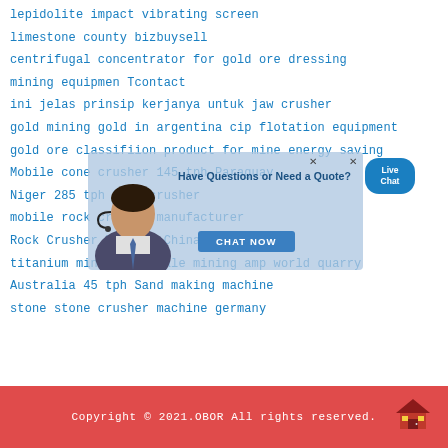lepidolite impact vibrating screen
limestone county bizbuysell
centrifugal concentrator for gold ore dressing
mining equipmen Tcontact
ini jelas prinsip kerjanya untuk jaw crusher
gold mining gold in argentina cip flotation equipment
gold ore classifiion product for mine energy saving
Mobile cone crusher 145 tph Paraguay
Niger 285 tph Sand crusher
mobile rock crusher manufacturer
Rock Crusher Made In China Colombia
titanium mining in kwale mining amp world quarry
Australia 45 tph Sand making machine
stone stone crusher machine germany
[Figure (screenshot): Live chat popup overlay with agent photo, 'Have Questions or Need a Quote?' header, and CHAT NOW button]
Copyright © 2021.OBOR All rights reserved.